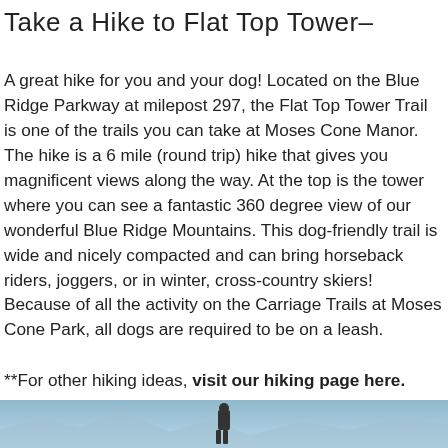Take a Hike to Flat Top Tower–
A great hike for you and your dog! Located on the Blue Ridge Parkway at milepost 297, the Flat Top Tower Trail is one of the trails you can take at Moses Cone Manor. The hike is a 6 mile (round trip) hike that gives you magnificent views along the way. At the top is the tower where you can see a fantastic 360 degree view of our wonderful Blue Ridge Mountains. This dog-friendly trail is wide and nicely compacted and can bring horseback riders, joggers, or in winter, cross-country skiers! Because of all the activity on the Carriage Trails at Moses Cone Park, all dogs are required to be on a leash.
**For other hiking ideas, visit our hiking page here.
[Figure (photo): Partial photo of a mountain or outdoor hiking scene with a person visible, shown as a cropped strip at the bottom of the page.]